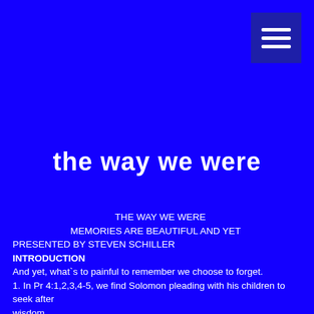[Figure (other): Hamburger menu icon button in dark navy/indigo square, top-right corner]
The Way We Were
THE WAY WE WERE
MEMORIES ARE BEAUTIFUL AND YET
PRESENTED BY STEVEN SCHILLER
INTRODUCTION
And yet, what`s to painful to remember we choose to forget.
1. In Pr 4:1,2,3,4-5, we find Solomon pleading with his children to seek after wisdom...
a. Through a collection of discourses
b. Extolling and illustrating the value of wisdom time and again
2. In Pr 4:6,7,8,9,10,11,12,13,14,15,16 we find Solomon sharing recollections of his